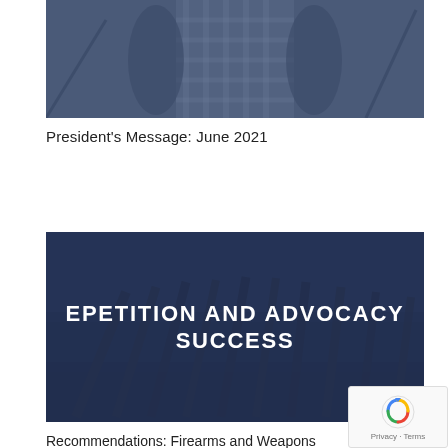[Figure (photo): Partial photo of a person standing outdoors, shown from torso down, wearing a checkered shirt, with a dark blue overlay tint]
President's Message: June 2021
[Figure (photo): Photo of rifle/gun rack with multiple firearms leaning against a fence outdoors, with a dark navy blue overlay and white bold text reading 'EPETITION AND ADVOCACY SUCCESS']
Recommendations: Firearms and Weapons Legislation Amendment (Criminal Use) Bill 2020